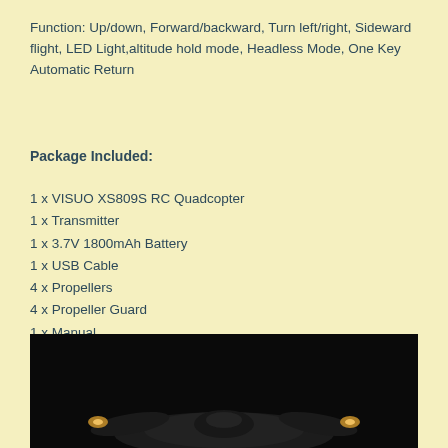Function: Up/down, Forward/backward, Turn left/right, Sideward flight, LED Light,altitude hold mode, Headless Mode, One Key Automatic Return
Package Included:
1 x VISUO XS809S RC Quadcopter
1 x Transmitter
1 x 3.7V 1800mAh Battery
1 x USB Cable
4 x Propellers
4 x Propeller Guard
1 x Manual
[Figure (photo): Photo of a dark-colored RC quadcopter drone against a black background, partially visible at the bottom of the page]